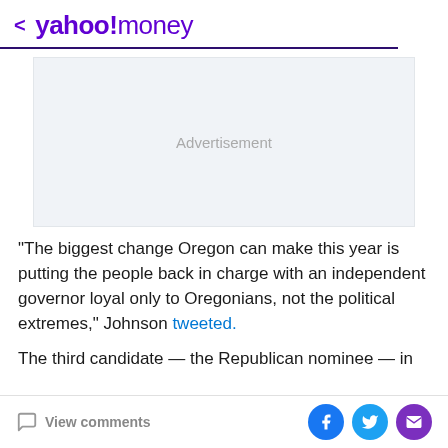< yahoo!money
[Figure (other): Advertisement placeholder box with light gray background]
“The biggest change Oregon can make this year is putting the people back in charge with an independent governor loyal only to Oregonians, not the political extremes,” Johnson tweeted.
The third candidate — the Republican nominee — in
View comments | Social share buttons: Facebook, Twitter, Email